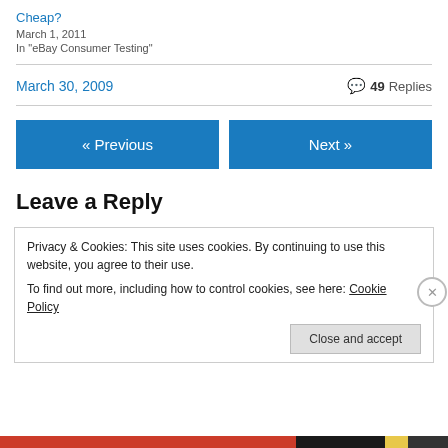Cheap?
March 1, 2011
In "eBay Consumer Testing"
March 30, 2009   💬 49 Replies
« Previous
Next »
Leave a Reply
Privacy & Cookies: This site uses cookies. By continuing to use this website, you agree to their use.
To find out more, including how to control cookies, see here: Cookie Policy
Close and accept